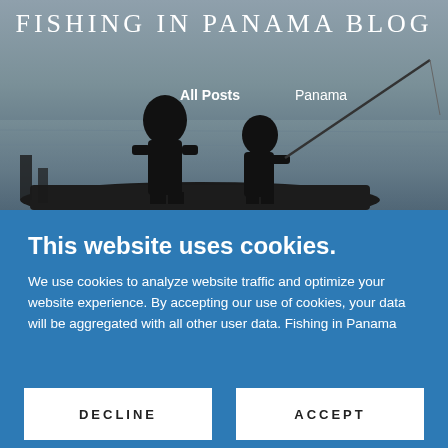[Figure (photo): Hero image of two silhouetted figures fishing from a boat on calm water, with a fishing rod visible, at dusk/dawn. Text overlay reads FISHING IN PANAMA BLOG.]
FISHING IN PANAMA BLOG
All Posts   Panama
This website uses cookies.
We use cookies to analyze website traffic and optimize your website experience. By accepting our use of cookies, your data will be aggregated with all other user data. Fishing in Panama
DECLINE
ACCEPT